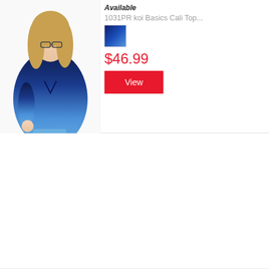Available
1031PR koi Basics Cali Top...
[Figure (other): Color swatch - blue ombre]
$46.99
View
[Figure (photo): Woman wearing navy to blue ombre scrub top]
New!   Available
1031PR koi Basics Cali Top...
[Figure (other): Color swatch - black/charcoal ombre]
$46.99
View
[Figure (photo): Woman wearing charcoal grey ombre scrub top, close-up portrait]